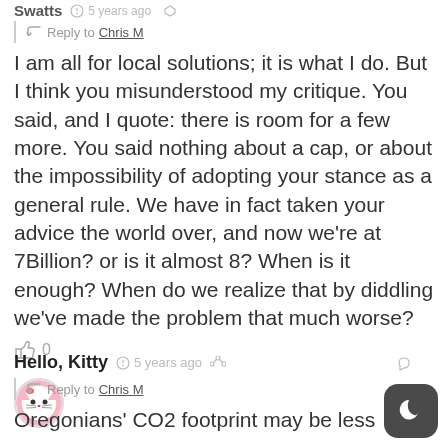Swatts · 5 years ago
Reply to Chris M
I am all for local solutions; it is what I do. But I think you misunderstood my critique. You said, and I quote: there is room for a few more. You said nothing about a cap, or about the impossibility of adopting your stance as a general rule. We have in fact taken your advice the world over, and now we're at 7Billion? or is it almost 8? When is it enough? When do we realize that by diddling we've made the problem that much worse?
0
Hello, Kitty · 5 years ago
Reply to Chris M
Oregonians' CO2 footprint may be less